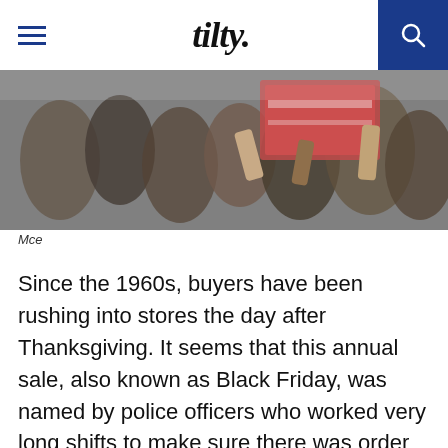tilty.
[Figure (photo): Crowd of shoppers rushing into a store, some holding large boxes, taken from above during a Black Friday sale event.]
Mce
Since the 1960s, buyers have been rushing into stores the day after Thanksgiving. It seems that this annual sale, also known as Black Friday, was named by police officers who worked very long shifts to make sure there was order in the streets. Online shopping, on the other hand, has increased dramatically since the 2000s. The fact that people started shopping for Christmas gifts